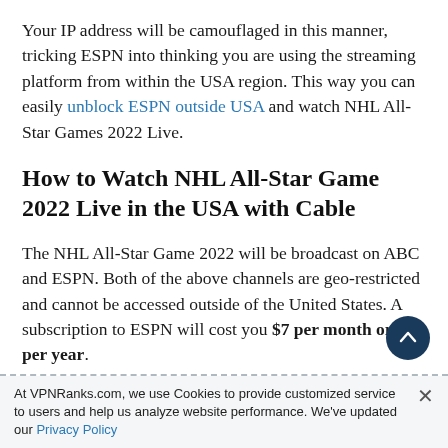Your IP address will be camouflaged in this manner, tricking ESPN into thinking you are using the streaming platform from within the USA region. This way you can easily unblock ESPN outside USA and watch NHL All-Star Games 2022 Live.
How to Watch NHL All-Star Game 2022 Live in the USA with Cable
The NHL All-Star Game 2022 will be broadcast on ABC and ESPN. Both of the above channels are geo-restricted and cannot be accessed outside of the United States. A subscription to ESPN will cost you $7 per month or $70 per year.
At VPNRanks.com, we use Cookies to provide customized service to users and help us analyze website performance. We've updated our Privacy Policy